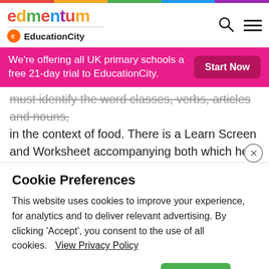[Figure (logo): Edmentum colorful logo with EducationCity sub-brand]
We're offering all UK primary schools a free 21-day trial to EducationCity.
must identify the word classes, verbs, articles and nouns, in the context of food. There is a Learn Screen and Worksheet accompanying both which help the pupils to identify which of the food related words are nouns, verbs
Cookie Preferences
This website uses cookies to improve your experience, for analytics and to deliver relevant advertising. By clicking 'Accept', you consent to the use of all cookies.   View Privacy Policy
Change Settings   Reject   Accept